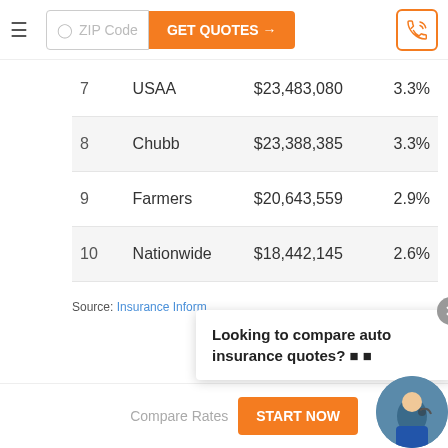ZIP Code  GET QUOTES →  [phone icon]
| 7 | USAA | $23,483,080 | 3.3% |
| 8 | Chubb | $23,388,385 | 3.3% |
| 9 | Farmers | $20,643,559 | 2.9% |
| 10 | Nationwide | $18,442,145 | 2.6% |
Source: Insurance Inform…
Looking to compare auto insurance quotes? 🔍 🔍
Compare Rates  START NOW